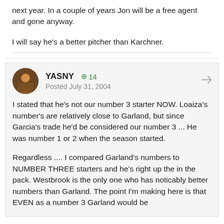next year. In a couple of years Jon will be a free agent and gone anyway.
I will say he's a better pitcher than Karchner.
YASNY
Posted July 31, 2004
I stated that he's not our number 3 starter NOW. Loaiza's number's are relatively close to Garland, but since Garcia's trade he'd be considered our number 3 ... He was number 1 or 2 when the season started.
Regardless .... I compared Garland's numbers to NUMBER THREE starters and he's right up the in the pack. Westbrook is the only one who has noticably better numbers than Garland. The point I'm making here is that EVEN as a number 3 Garland would be